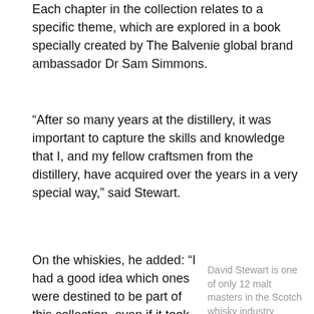Each chapter in the collection relates to a specific theme, which are explored in a book specially created by The Balvenie global brand ambassador Dr Sam Simmons.
“After so many years at the distillery, it was important to capture the skills and knowledge that I, and my fellow craftsmen from the distillery, have acquired over the years in a very special way,” said Stewart.
On the whiskies, he added: “I had a good idea which ones were destined to be part of this collection, even if it took some work and time to
David Stewart is one of only 12 malt masters in the Scotch whisky industry